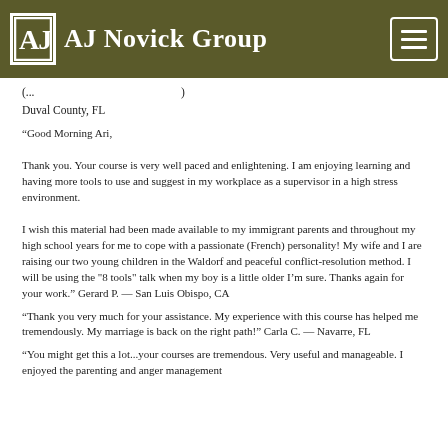AJ Novick Group
Duval County, FL
“Good Morning Ari,

Thank you. Your course is very well paced and enlightening. I am enjoying learning and having more tools to use and suggest in my workplace as a supervisor in a high stress environment.

I wish this material had been made available to my immigrant parents and throughout my high school years for me to cope with a passionate (French) personality! My wife and I are raising our two young children in the Waldorf and peaceful conflict-resolution method. I will be using the "8 tools" talk when my boy is a little older I’m sure. Thanks again for your work.” Gerard P. — San Luis Obispo, CA
“Thank you very much for your assistance. My experience with this course has helped me tremendously. My marriage is back on the right path!” Carla C. — Navarre, FL
“You might get this a lot...your courses are tremendous. Very useful and manageable. I enjoyed the parenting and anger management